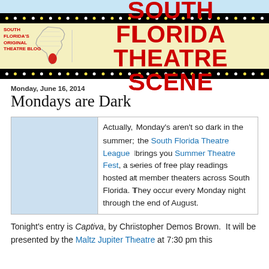[Figure (logo): South Florida Theatre Scene blog banner with marquee lights, Florida map outline, and bold red title text on cream background]
Monday, June 16, 2014
Mondays are Dark
Actually, Monday's aren't so dark in the summer; the South Florida Theatre League  brings you Summer Theatre Fest, a series of free play readings hosted at member theaters across South Florida. They occur every Monday night through the end of August.
Tonight's entry is Captiva, by Christopher Demos Brown.  It will be presented by the Maltz Jupiter Theatre at 7:30 pm this